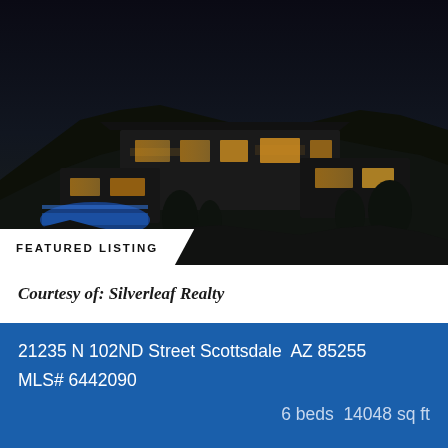[Figure (photo): Aerial night view of a luxury modern hillside mansion in Scottsdale Arizona with illuminated interior lights against a dark desert mountain landscape]
FEATURED LISTING
Courtesy of: Silverleaf Realty
21235 N 102ND Street Scottsdale  AZ 85255
MLS# 6442090
6 beds  14048 sq ft